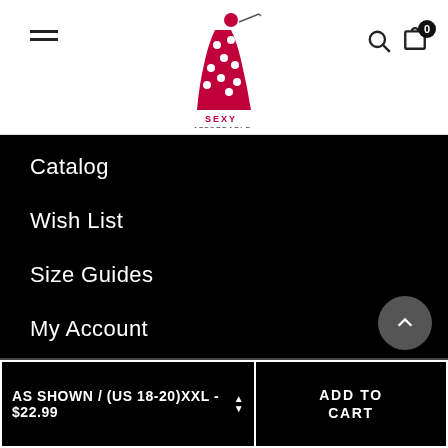[Figure (logo): Sexy Affordable brand logo — illustrated woman in red polka-dot dress with text 'SEXY AFFORDABLE']
Catalog
Wish List
Size Guides
My Account
Shipping & Return Policy
— Join the Sexy Affordable Club
Subscribe to our newsletter and get 10% off your first purchase